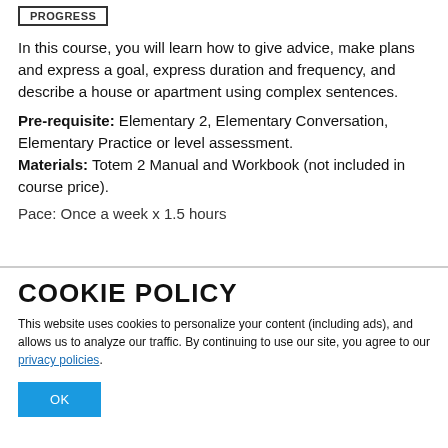PROGRESS
In this course, you will learn how to give advice, make plans and express a goal, express duration and frequency, and describe a house or apartment using complex sentences.
Pre-requisite: Elementary 2, Elementary Conversation, Elementary Practice or level assessment. Materials: Totem 2 Manual and Workbook (not included in course price).
Pace: Once a week x 1.5 hours
COOKIE POLICY
This website uses cookies to personalize your content (including ads), and allows us to analyze our traffic. By continuing to use our site, you agree to our privacy policies.
OK